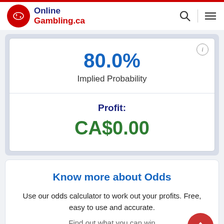OnlineGambling.ca
80.0%
Implied Probability
Profit:
CA$0.00
Know more about Odds
Use our odds calculator to work out your profits. Free, easy to use and accurate.
Find out what you can win